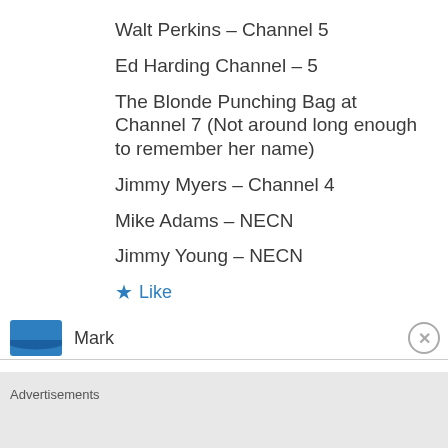Walt Perkins – Channel 5
Ed Harding Channel – 5
The Blonde Punching Bag at Channel 7 (Not around long enough to remember her name)
Jimmy Myers – Channel 4
Mike Adams – NECN
Jimmy Young – NECN
★ Like
Mark
Advertisements